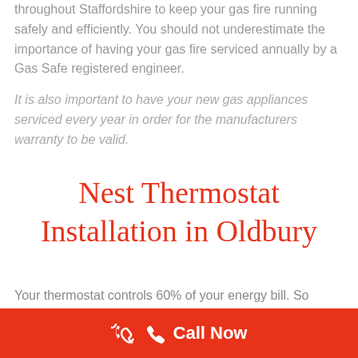throughout Staffordshire to keep your gas fire running safely and efficiently. You should not underestimate the importance of having your gas fire serviced annually by a Gas Safe registered engineer.
It is also important to have your new gas appliances serviced every year in order for the manufacturers warranty to be valid.
Nest Thermostat Installation in Oldbury
Your thermostat controls 60% of your energy bill. So shouldn't it help you save...
Call Now